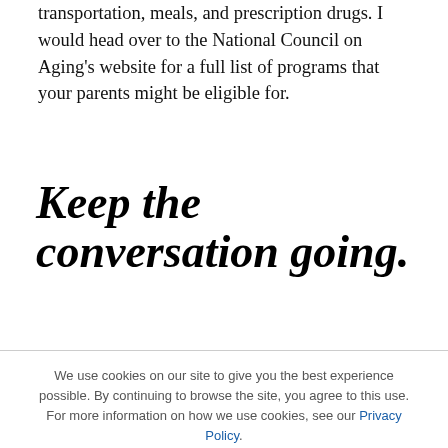transportation, meals, and prescription drugs. I would head over to the National Council on Aging's website for a full list of programs that your parents might be eligible for.
Keep the conversation going.
We use cookies on our site to give you the best experience possible. By continuing to browse the site, you agree to this use. For more information on how we use cookies, see our Privacy Policy.
CONTINUE